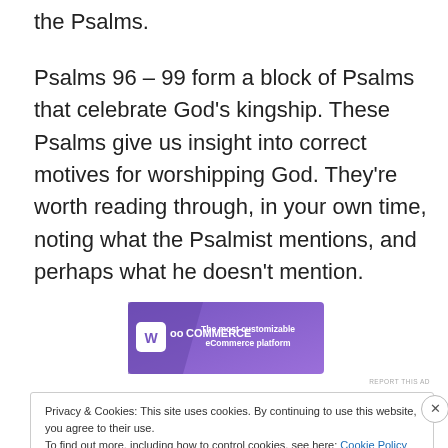the Psalms.
Psalms 96 – 99 form a block of Psalms that celebrate God's kingship. These Psalms give us insight into correct motives for worshipping God. They're worth reading through, in your own time, noting what the Psalmist mentions, and perhaps what he doesn't mention.
[Figure (screenshot): WooCommerce advertisement banner: purple background with WooCommerce logo on left and text 'The most customizable eCommerce platform' on right]
REPORT THIS AD
Privacy & Cookies: This site uses cookies. By continuing to use this website, you agree to their use.
To find out more, including how to control cookies, see here: Cookie Policy
Close and accept